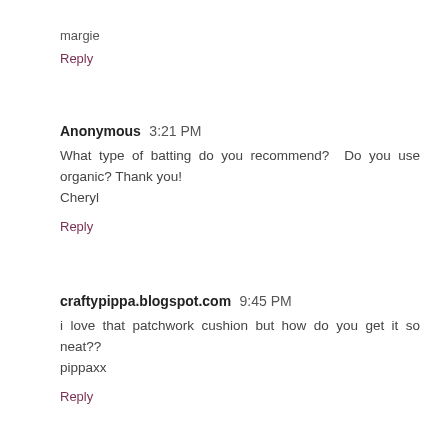margie
Reply
Anonymous 3:21 PM
What type of batting do you recommend? Do you use organic? Thank you!
Cheryl
Reply
craftypippa.blogspot.com 9:45 PM
i love that patchwork cushion but how do you get it so neat??
pippaxx
Reply
Unknown 8:58 AM